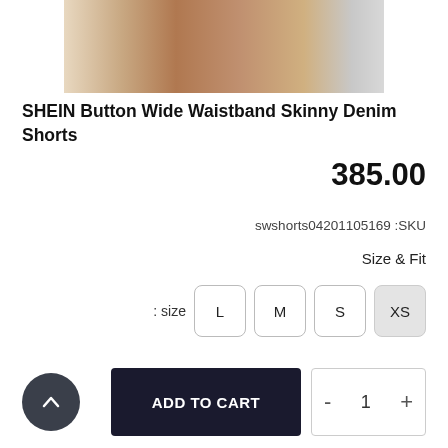[Figure (photo): Cropped photo of a model's legs wearing denim shorts, visible from upper thigh to mid-thigh, against a light gray background.]
SHEIN Button Wide Waistband Skinny Denim Shorts
385.00
SKU: swshorts04201105169
Size & Fit
size : XS  S  M  L
ADD TO CART
- 1 +